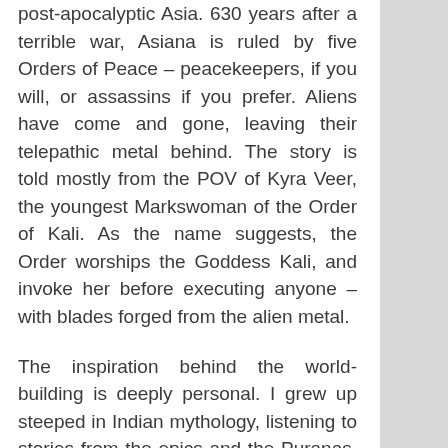post-apocalyptic Asia. 630 years after a terrible war, Asiana is ruled by five Orders of Peace – peacekeepers, if you will, or assassins if you prefer. Aliens have come and gone, leaving their telepathic metal behind. The story is told mostly from the POV of Kyra Veer, the youngest Markswoman of the Order of Kali. As the name suggests, the Order worships the Goddess Kali, and invoke her before executing anyone – with blades forged from the alien metal.
The inspiration behind the world-building is deeply personal. I grew up steeped in Indian mythology, listening to stories from the epics and the Puranas. I was also an avid science fiction and fantasy reader. It felt natural to me to blend all my loves